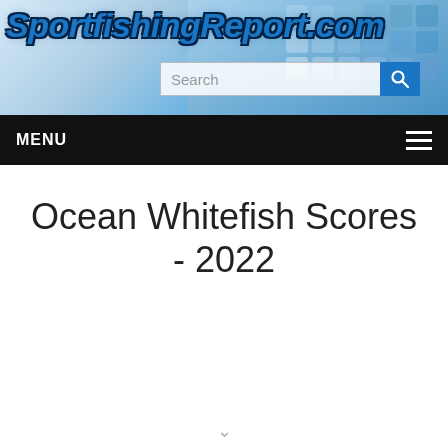SportfishingReport.com
Ocean Whitefish Scores - 2022